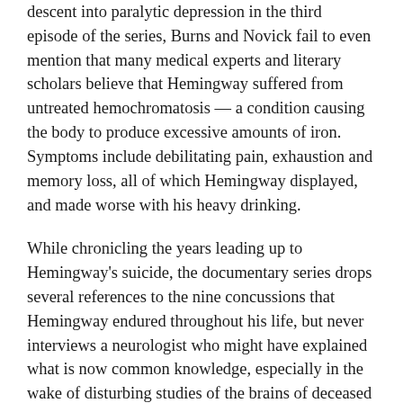descent into paralytic depression in the third episode of the series, Burns and Novick fail to even mention that many medical experts and literary scholars believe that Hemingway suffered from untreated hemochromatosis — a condition causing the body to produce excessive amounts of iron. Symptoms include debilitating pain, exhaustion and memory loss, all of which Hemingway displayed, and made worse with his heavy drinking.
While chronicling the years leading up to Hemingway's suicide, the documentary series drops several references to the nine concussions that Hemingway endured throughout his life, but never interviews a neurologist who might have explained what is now common knowledge, especially in the wake of disturbing studies of the brains of deceased NFL players — chronic traumatic encephalopathy, or CTE, often caused by repeated concussions, can lead to loss of